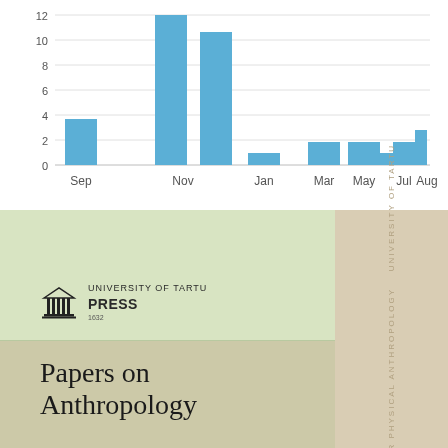[Figure (bar-chart): ]
[Figure (photo): Book cover for 'Papers on Anthropology' published by University of Tartu Press. Green cover with press logo on upper portion and book title on lower tan portion. Side spine shows 'Centre for Physical Anthropology University of Tartu' text vertically.]